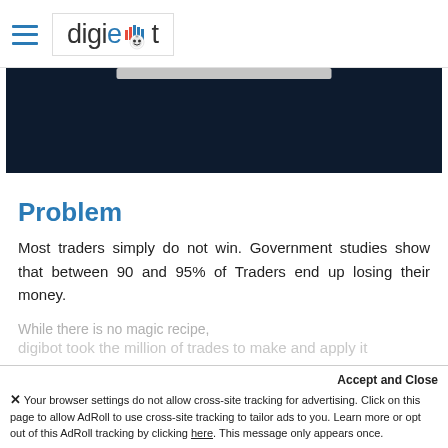digiebot [logo with robot icon and bar chart icon]
[Figure (screenshot): Dark navy blue banner/hero section with a light gray search or input bar near the top center]
Problem
Most traders simply do not win. Government studies show that between 90 and 95% of Traders end up losing their money.
Accept and Close
✕ Your browser settings do not allow cross-site tracking for advertising. Click on this page to allow AdRoll to use cross-site tracking to tailor ads to you. Learn more or opt out of this AdRoll tracking by clicking here. This message only appears once.